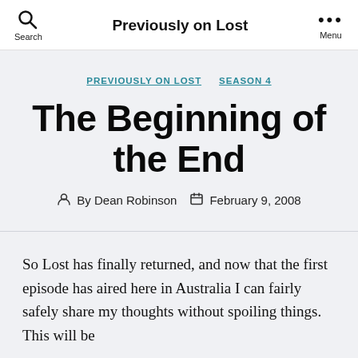Previously on Lost
PREVIOUSLY ON LOST   SEASON 4
The Beginning of the End
By Dean Robinson   February 9, 2008
So Lost has finally returned, and now that the first episode has aired here in Australia I can fairly safely share my thoughts without spoiling things. This will be